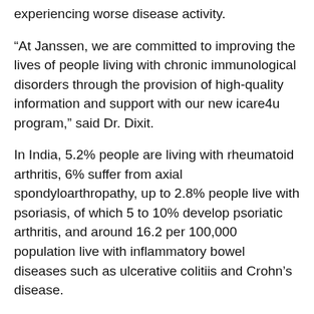experiencing worse disease activity.
“At Janssen, we are committed to improving the lives of people living with chronic immunological disorders through the provision of high-quality information and support with our new icare4u program,” said Dr. Dixit.
In India, 5.2% people are living with rheumatoid arthritis, 6% suffer from axial spondyloarthropathy, up to 2.8% people live with psoriasis, of which 5 to 10% develop psoriatic arthritis, and around 16.2 per 100,000 population live with inflammatory bowel diseases such as ulcerative colitiis and Crohn’s disease.
Research reveals that up to four-in-ten people with rheumatoid arthritis suffer from depression and one-in-four are affected by anxiety. Half of those living with psoriatic arthritis, two thirds of those with axial spondyloarthropathy and a third of those with